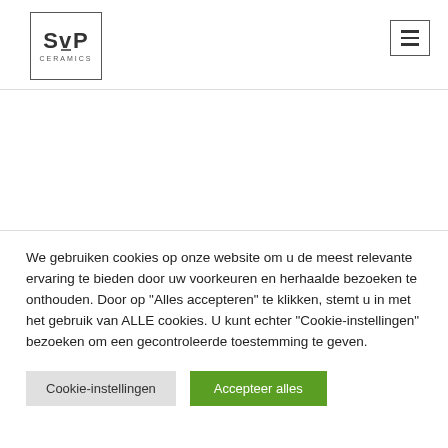SVP Ceramics logo and navigation menu
We gebruiken cookies op onze website om u de meest relevante ervaring te bieden door uw voorkeuren en herhaalde bezoeken te onthouden. Door op "Alles accepteren" te klikken, stemt u in met het gebruik van ALLE cookies. U kunt echter "Cookie-instellingen" bezoeken om een gecontroleerde toestemming te geven.
Cookie-instellingen | Accepteer alles